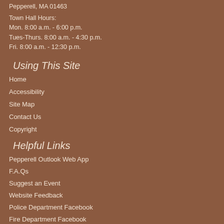Pepperell, MA 01463
Town Hall Hours:
Mon. 8:00 a.m. - 6:00 p.m.
Tues-Thurs. 8:00 a.m. - 4:30 p.m.
Fri. 8:00 a.m. - 12:30 p.m.
Using This Site
Home
Accessibility
Site Map
Contact Us
Copyright
Helpful Links
Pepperell Outlook Web App
F.A.Qs
Suggest an Event
Website Feedback
Police Department Facebook
Fire Department Facebook
Lawrence Library Facebook